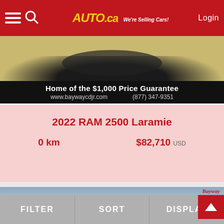Auto.ca - We're Selling Cars! | Login
[Figure (photo): Partial view of a vehicle tire/wheel area with sandy/dirt background]
Home of the $1,000 Price Guarantee
www.baywaycdjr.com   (877) 347-9351
2022 RAM 2500 Laramie
0 km   $82,710 USD
[Figure (photo): White RAM 2500 truck parked in front of Bayway Chrysler Dodge Jeep RAM dealership]
FILTER   SORT   DISPLAY